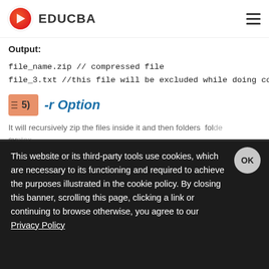EDUCBA
Output:
file_name.zip  // compressed file
file_3.txt   //this file will be excluded while doing compression
5) -r Option
It will recursively zip the files inside it and then folders inside...
This website or its third-party tools use cookies, which are necessary to its functioning and required to achieve the purposes illustrated in the cookie policy. By closing this banner, scrolling this page, clicking a link or continuing to browse otherwise, you agree to our Privacy Policy